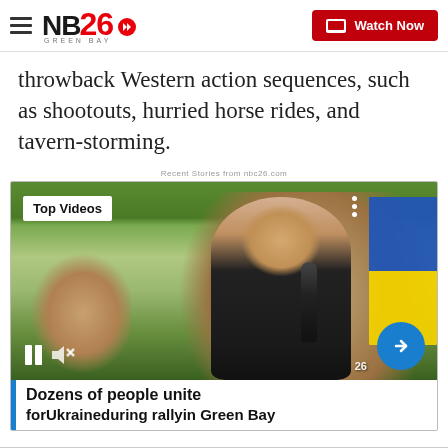NBC26 Green Bay — Watch Now
throwback Western action sequences, such as shootouts, hurried horse rides, and tavern-storming.
Recent Stories from nbc26.com
[Figure (screenshot): Video thumbnail showing a man in a black t-shirt speaking into a microphone outdoors, with a Ukrainian flag visible on the right side. Overlay text reads 'Top Videos'. Playback controls (pause, mute) visible at bottom left, arrow button at bottom right, NBC26 watermark.]
Dozens of people unite forUkraineduring rallyin Green Bay